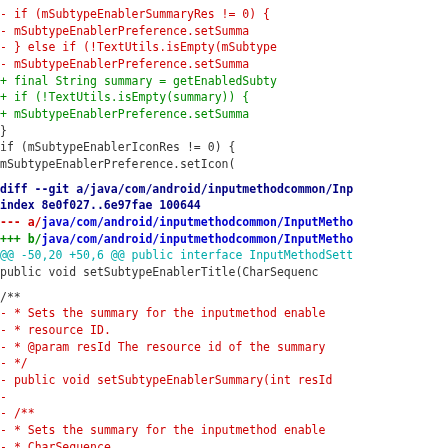Code diff showing changes to InputMethodSettings Java files
diff --git a/java/com/android/inputmethodcommon/Inp
index 8e0f027..6e97fae 100644
--- a/java/com/android/inputmethodcommon/InputMetho
+++ b/java/com/android/inputmethodcommon/InputMetho
@@ -50,20 +50,6 @@ public interface InputMethodSett
        public void setSubtypeEnablerTitle(CharSequenc